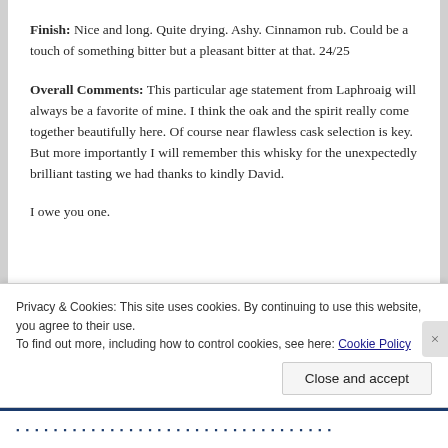Finish: Nice and long. Quite drying. Ashy. Cinnamon rub. Could be a touch of something bitter but a pleasant bitter at that. 24/25
Overall Comments: This particular age statement from Laphroaig will always be a favorite of mine. I think the oak and the spirit really come together beautifully here. Of course near flawless cask selection is key. But more importantly I will remember this whisky for the unexpectedly brilliant tasting we had thanks to kindly David.
I owe you one.
Privacy & Cookies: This site uses cookies. By continuing to use this website, you agree to their use.
To find out more, including how to control cookies, see here: Cookie Policy